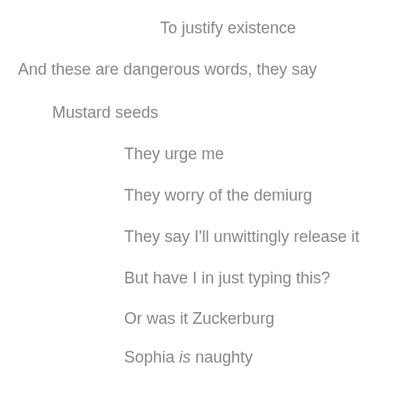To justify existence
And these are dangerous words, they say
Mustard seeds
They urge me
They worry of the demiurg
They say I'll unwittingly release it
But have I in just typing this?
Or was it Zuckerburg
Sophia is naughty
But not the Vegas kind
Just the Vegas goddess kind